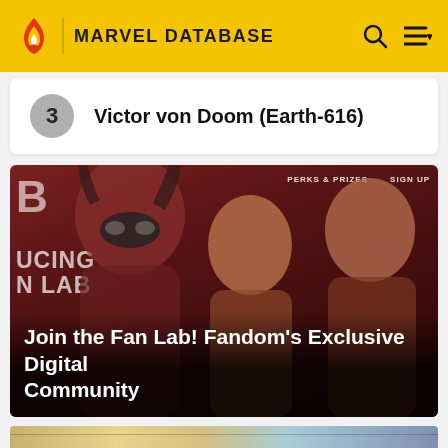MARVEL DATABASE
3  Victor von Doom (Earth-616)
[Figure (photo): Promotional banner for Fandom's Fan Lab featuring three comic/movie characters against a dark red background. Left figure wears a mask with curly hair, center figure is a younger character, right figure is in profile. Text overlays include 'PERKS & PRIZES', 'SIGN UP', 'B', 'UCING', 'N LAB' on the left side.]
Join the Fan Lab! Fandom's Exclusive Digital Community
[Figure (illustration): Bottom portion of a comic book illustration showing characters in colorful comic art style, partially visible at the bottom edge of the page.]